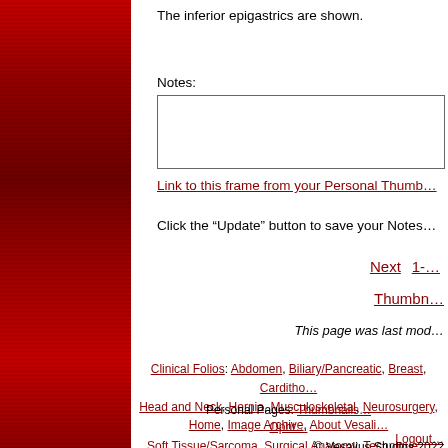The inferior epigastrics are shown.
Notes:
Link to this frame from your Personal Thumb...
Click the "Update" button to save your Notes...
Next  1-...
Thumbn...
This page was last mod...
Clinical Folios: Abdomen, Biliary/Pancreatic, Breast, Carditho... Head and Neck, Hernia, Musculoskeletal, Neurosurgery, Opht... Soft Tissue/Sarcoma, Surgical Anatomy, Technique...
Personal Pages: Thumbnails...
Home, Image Archive, About Vesali...
Logout...
© Vesalius Studios 2022